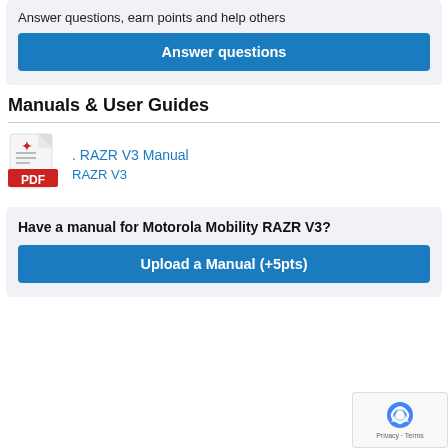Answer questions, earn points and help others
Answer questions
Manuals & User Guides
. RAZR V3 Manual
RAZR V3
Have a manual for Motorola Mobility RAZR V3?
Upload a Manual (+5pts)